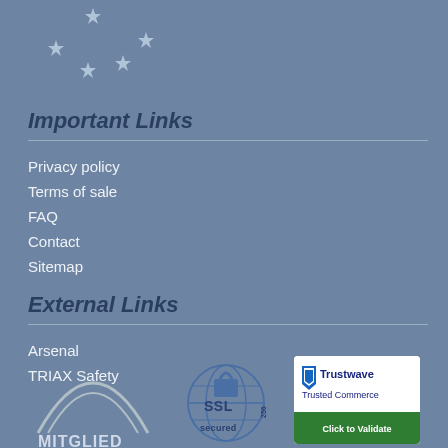[Figure (illustration): Decorative stars in a circular EU-flag-like pattern, light blue on blue background, top left corner]
Important Links
Privacy policy
Terms of sale
FAQ
Contact
Sitemap
External Links
Arsenal
TRIAX Safety
[Figure (logo): MITGLIED logo with arc graphic]
[Figure (logo): SSL 256 secured badge with padlock icon]
[Figure (logo): Trustwave Trusted Commerce Click to Validate badge]